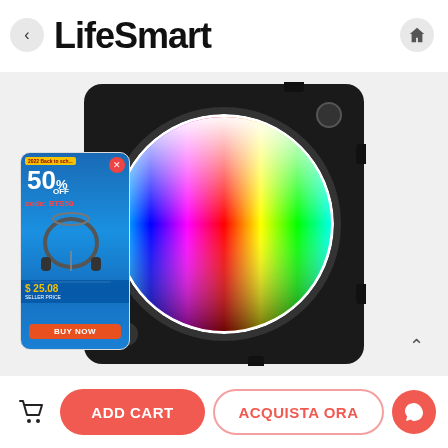[Figure (logo): LifeSmart brand logo text in bold black]
[Figure (photo): LifeSmart smart home device with RGB color wheel on black square panel, with promotional ad overlay showing 50% off headphones deal]
ADD CART
ACQUISTA ORA